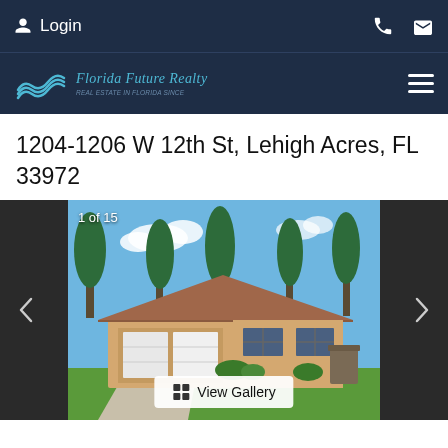Login
[Figure (logo): Florida Future Realty logo with wave icon and italic text]
1204-1206 W 12th St, Lehigh Acres, FL 33972
[Figure (photo): Exterior photo of a single-story stucco home with tan/yellow walls, brown hip roof, white garage doors, green lawn, and tall pine trees in background. Gallery counter shows 1 of 15. View Gallery button at bottom.]